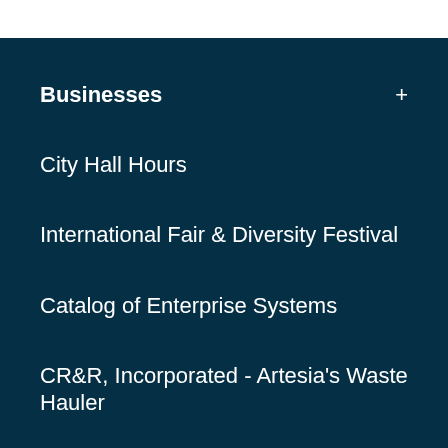Businesses +
City Hall Hours
International Fair & Diversity Festival
Catalog of Enterprise Systems
CR&R, Incorporated - Artesia's Waste Hauler